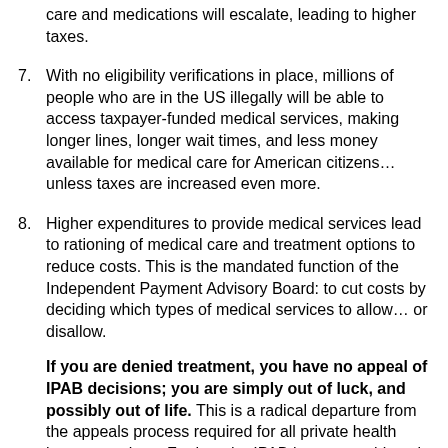care and medications will escalate, leading to higher taxes.
7. With no eligibility verifications in place, millions of people who are in the US illegally will be able to access taxpayer-funded medical services, making longer lines, longer wait times, and less money available for medical care for American citizens… unless taxes are increased even more.
8. Higher expenditures to provide medical services lead to rationing of medical care and treatment options to reduce costs. This is the mandated function of the Independent Payment Advisory Board: to cut costs by deciding which types of medical services to allow… or disallow.
If you are denied treatment, you have no appeal of IPAB decisions; you are simply out of luck, and possibly out of life. This is a radical departure from the appeals process required for all private health insurance plans. Further, the IPAB is accountable only to President Obama, and cannot be overridden by